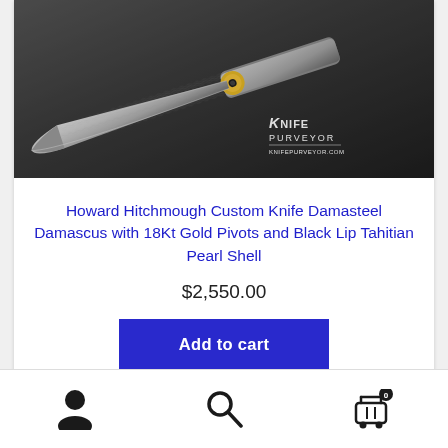[Figure (photo): A custom folding knife with a Damasteel Damascus blade and 18Kt gold pivot, photographed on a dark gray background. The blade is open and features a patterned Damascus steel surface. A 'Knife Purveyor' watermark is visible in the lower right corner of the image.]
Howard Hitchmough Custom Knife Damasteel Damascus with 18Kt Gold Pivots and Black Lip Tahitian Pearl Shell
$2,550.00
Add to cart
Navigation bar with user account icon, search icon, and shopping cart icon with badge showing 0